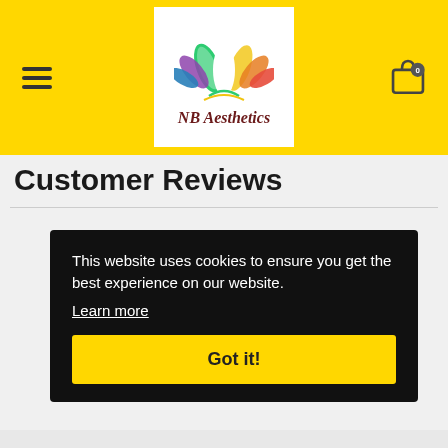[Figure (logo): NB Aesthetics logo: colorful lotus flower with rainbow petals above the text 'NB Aesthetics' in dark red italic script]
Customer Reviews
This website uses cookies to ensure you get the best experience on our website. Learn more Got it!